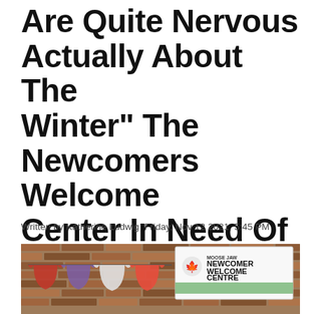Are Quite Nervous Actually About The Winter" The Newcomers Welcome Center In Need Of Donations
Written by Katherine Ludwig Friday, Nov 12 2021, 5:45 PM
[Figure (photo): Photo of the Moose Jaw Newcomer Welcome Centre sign on a brick building, with colourful clothes hanging on a line in front]